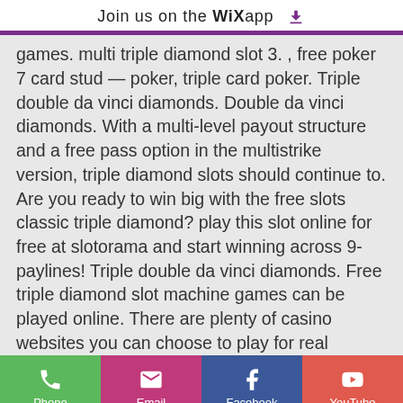Join us on the WiX app ⬇
games. multi triple diamond slot 3. , free poker 7 card stud — poker, triple card poker. Triple double da vinci diamonds. Double da vinci diamonds. With a multi-level payout structure and a free pass option in the multistrike version, triple diamond slots should continue to. Are you ready to win big with the free slots classic triple diamond? play this slot online for free at slotorama and start winning across 9-paylines! Triple double da vinci diamonds. Free triple diamond slot machine games can be played online. There are plenty of casino websites you can choose to play for real money. The diamonds have become a symbol of riches, that's why they are widespread in casinos. That is why igt kept the theme of triple diamond slot.
Phone | Email | Facebook | YouTube